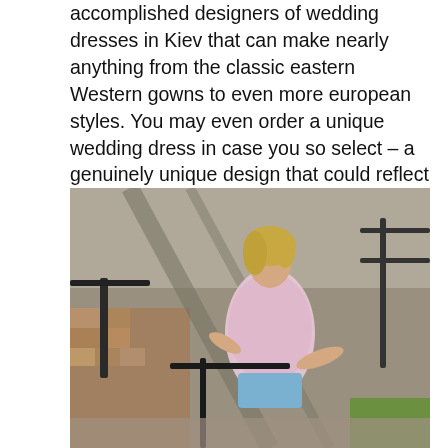accomplished designers of wedding dresses in Kiev that can make nearly anything from the classic eastern Western gowns to even more european styles. You may even order a unique wedding dress in case you so select – a genuinely unique design that could reflect exactly what you want to your special day.
[Figure (photo): A young blonde woman wearing a floral pink sleeveless top and denim shorts, posing near a metal railing on outdoor steps/ramp with patterned pavement and green grass in the background on a sunny day.]